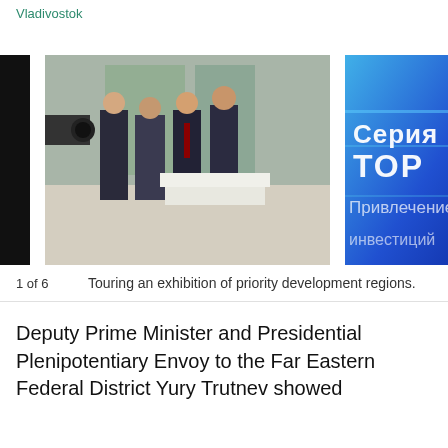Vladivostok
[Figure (photo): Two-panel photo strip: left panel shows several men in suits standing and talking in an indoor exhibition hall; right panel shows a close-up of a blue illuminated display screen with Cyrillic text reading 'Серия ТОР' (Series TOR) and other text below.]
1 of 6    Touring an exhibition of priority development regions.
Deputy Prime Minister and Presidential Plenipotentiary Envoy to the Far Eastern Federal District Yury Trutnev showed